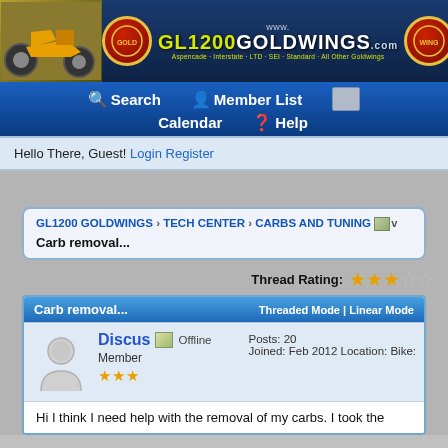[Figure (screenshot): GL1200 Goldwings website banner with logo, motorcycle photos, and gold/yellow site title]
Search | Member List | Calendar | Help
Hello There, Guest! Login Register
GL1200 GOLDWINGS › TECH CENTER › CARBS AND TUNING v
Carb removal...
Thread Rating: ★★★☆☆
Carb removal... | Threaded Mode | Linear Mode
Discus Offline
Member
★★★
Posts: 20
Joined: Feb 2012 Location: Bike:
Hi I think I need help with the removal of my carbs. I took the